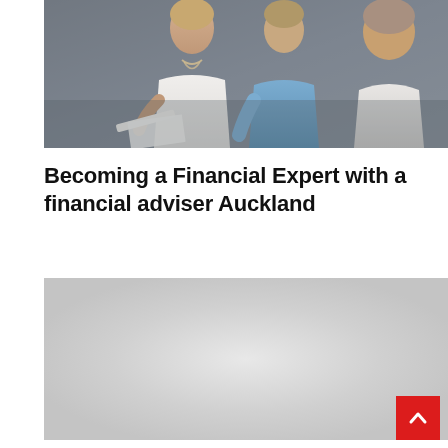[Figure (photo): Photo of people in a financial consulting meeting — a woman with pearl necklace in white blouse and two men, one in blue shirt, reviewing documents together]
Becoming a Financial Expert with a financial adviser Auckland
[Figure (photo): Second image placeholder — light gray background, appears to be a partially loaded or placeholder image]